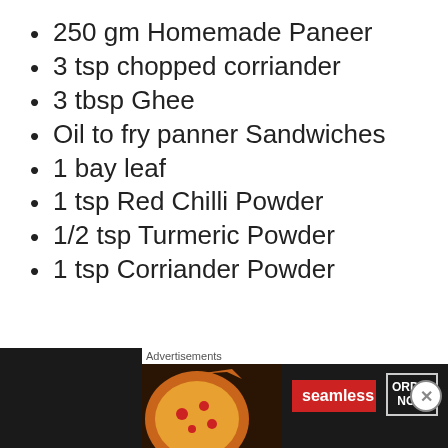250 gm Homemade Paneer
3 tsp chopped corriander
3 tbsp Ghee
Oil to fry panner Sandwiches
1 bay leaf
1 tsp Red Chilli Powder
1/2 tsp Turmeric Powder
1 tsp Corriander Powder
Advertisements